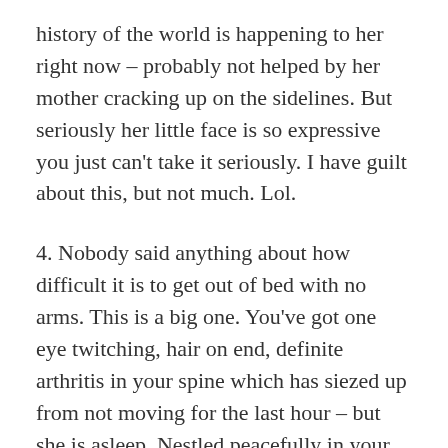history of the world is happening to her right now – probably not helped by her mother cracking up on the sidelines. But seriously her little face is so expressive you just can't take it seriously. I have guilt about this, but not much. Lol.
4. Nobody said anything about how difficult it is to get out of bed with no arms. This is a big one. You've got one eye twitching, hair on end, definite arthritis in your spine which has siezed up from not moving for the last hour – but she is asleep. Nestled peacefully in your arms without a care in the world. You're so tired you're willing to sell your soul to the devil in exchange for a nap, but all the stuff you've read about the dangers of falling asleep with them in your bed is ricocheting around the inside of your head… you have to put her down but you have to move from this sacred